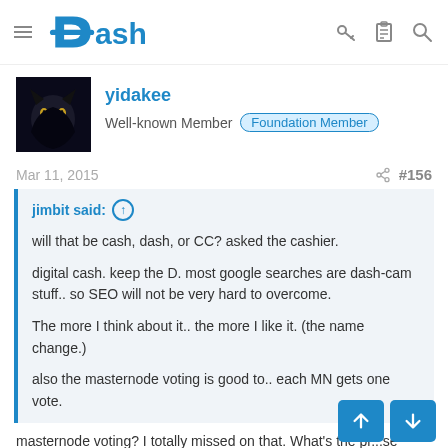Dash — hamburger menu, key icon, clipboard icon, search icon
yidakee
Well-known Member  Foundation Member
Mar 11, 2015  #156
jimbit said: ↑

will that be cash, dash, or CC? asked the cashier.

digital cash. keep the D. most google searches are dash-cam stuff.. so SEO will not be very hard to overcome.

The more I think about it.. the more I like it. (the name change.)

also the masternode voting is good to.. each MN gets one vote.
masternode voting? I totally missed on that. What's the pr...se